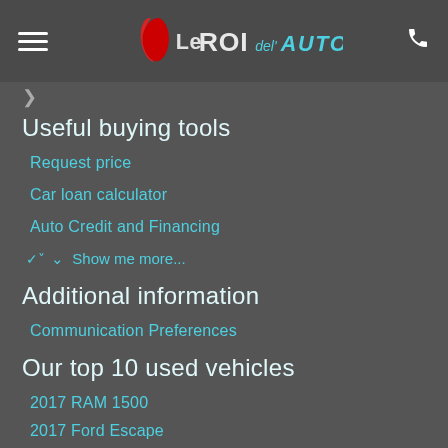Le ROI del AUTO - navigation header with hamburger menu and phone icon
Useful buying tools
Request price
Car loan calculator
Auto Credit and Financing
Show me more...
Additional information
Communication Preferences
Our top 10 used vehicles
2017 RAM 1500
2017 Ford Escape
2017 Hyundai Elantra
Show me more...